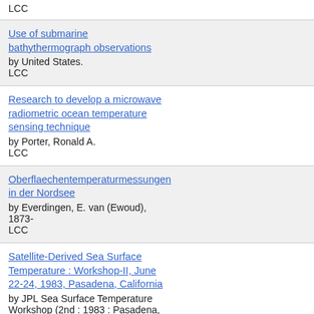LCC
Use of submarine bathythermograph observations
by United States.
LCC
14  4  19
Research to develop a microwave radiometric ocean temperature sensing technique
by Porter, Ronald A.
LCC
14  2  19
Oberflaechentemperaturmessungen in der Nordsee
by Everdingen, E. van (Ewoud), 1873-
LCC
14  4  19
Satellite-Derived Sea Surface Temperature : Workshop-II, June 22-24, 1983, Pasadena, California
by JPL Sea Surface Temperature Workshop (2nd : 1983 : Pasadena, Calif.)
LCC
14  2  19